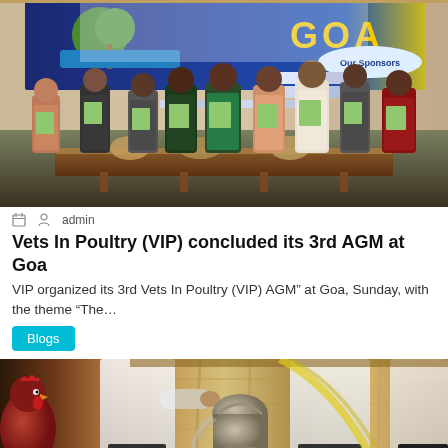[Figure (photo): Group photo of people holding books/magazines at a conference venue with a 'GOA Our Sponsors' banner in the background. Multiple attendees seated and standing behind a table.]
admin
Vets In Poultry (VIP) concluded its 3rd AGM at Goa
VIP organized its 3rd Vets In Poultry (VIP) AGM” at Goa, Sunday, with the theme “The…
Blogs
[Figure (photo): Photo of people in white coats working in a poultry facility, handling equipment including a silver bucket. A chicken/rooster is visible on the left side.]